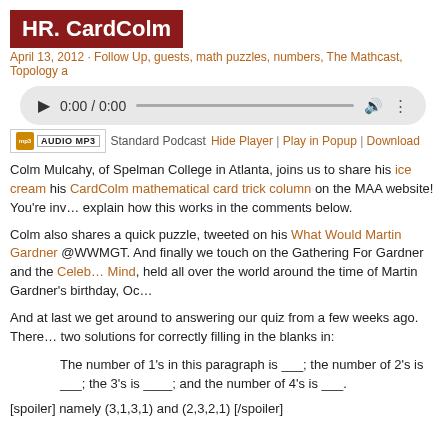HR. CardColm
April 13, 2012 · Follow Up, guests, math puzzles, numbers, The Mathcast, Topology a…
[Figure (other): Audio media player with play button, time display 0:00 / 0:00, seek bar, volume icon, and more options icon]
Standard Podcast  Hide Player | Play in Popup | Download
Colm Mulcahy, of Spelman College in Atlanta, joins us to share his ice cream… his CardColm mathematical card trick column on the MAA website! You're inv… explain how this works in the comments below.
Colm also shares a quick puzzle, tweeted on his What Would Martin Gardner… @WWMGT. And finally we touch on the Gathering For Gardner and the Celeb… Mind, held all over the world around the time of Martin Gardner's birthday, Oc…
And at last we get around to answering our quiz from a few weeks ago. There… two solutions for correctly filling in the blanks in:
The number of 1's in this paragraph is ___; the number of 2's is ___; the 3's is ____; and the number of 4's is ___.
[spoiler] namely (3,1,3,1) and (2,3,2,1) [/spoiler]